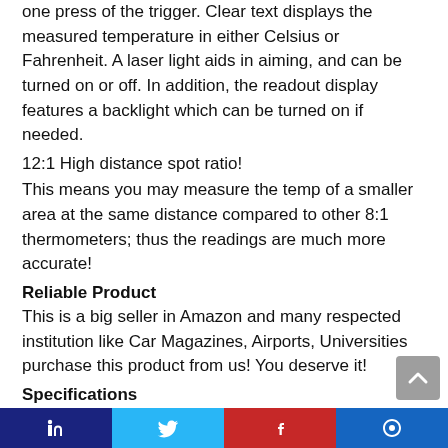one press of the trigger. Clear text displays the measured temperature in either Celsius or Fahrenheit. A laser light aids in aiming, and can be turned on or off. In addition, the readout display features a backlight which can be turned on if needed.
12:1 High distance spot ratio!
This means you may measure the temp of a smaller area at the same distance compared to other 8:1 thermometers; thus the readings are much more accurate!
Reliable Product
This is a big seller in Amazon and many respected institution like Car Magazines, Airports, Universities purchase this product from us! You deserve it!
Specifications
Temperature Range: -58°F〜1022°F(-50°C〜550°C)
Accuracy: ±2%
Distance Spot Ratio: 12:1